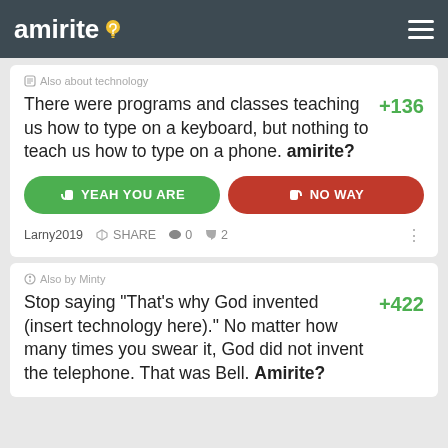amirite?
# Also about technology
There were programs and classes teaching us how to type on a keyboard, but nothing to teach us how to type on a phone. amirite?
+136
YEAH YOU ARE
NO WAY
Larny2019   SHARE   ♥ 0   ● 2
Also by Minty
Stop saying "That's why God invented (insert technology here)." No matter how many times you swear it, God did not invent the telephone. That was Bell. Amirite?
+422